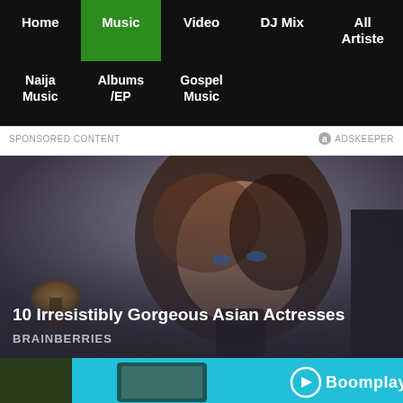Home | Music | Video | DJ Mix | All Artiste | Naija Music | Albums /EP | Gospel Music
SPONSORED CONTENT    ADSKEEPER
[Figure (photo): Portrait of a beautiful woman with long dark hair and striking blue eyes, wearing a dark top, with blurred lamp and background. Caption overlay: '10 Irresistibly Gorgeous Asian Actresses' by BRAINBERRIES]
10 Irresistibly Gorgeous Asian Actresses
BRAINBERRIES
[Figure (screenshot): Bottom banner strip showing Boomplay logo with teal/cyan background]